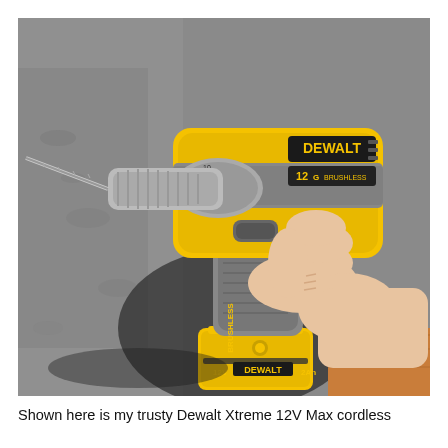[Figure (photo): A hand holding a yellow and grey DeWalt 12V Max Brushless cordless drill/driver with a drill bit inserted, photographed outdoors on a grey asphalt surface. The battery pack at the bottom reads '12V DeWalt 2Ah'. The drill body prominently shows the DeWalt logo and '12G Brushless' markings.]
Shown here is my trusty Dewalt Xtreme 12V Max cordless